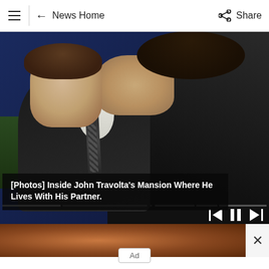≡  ← News Home    Share
[Figure (photo): Two men in dark suits in close proximity, one appearing to kiss the other on the cheek, at what appears to be a formal event with blue background. Video player controls and progress bar visible at bottom of image.]
[Photos] Inside John Travolta's Mansion Where He Lives With His Partner.
[Figure (photo): Partial photo of a person's head/face, cropped, with a close (X) button on the right side.]
Ad